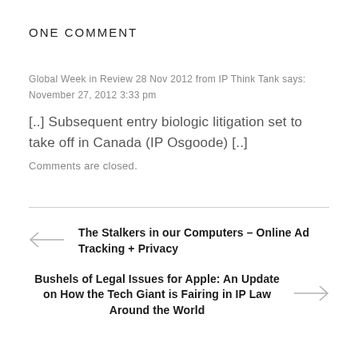ONE COMMENT
Global Week in Review 28 Nov 2012 from IP Think Tank says:
November 27, 2012 3:33 pm
[..] Subsequent entry biologic litigation set to take off in Canada (IP Osgoode) [..]
Comments are closed.
The Stalkers in our Computers – Online Ad Tracking + Privacy
Bushels of Legal Issues for Apple: An Update on How the Tech Giant is Fairing in IP Law Around the World